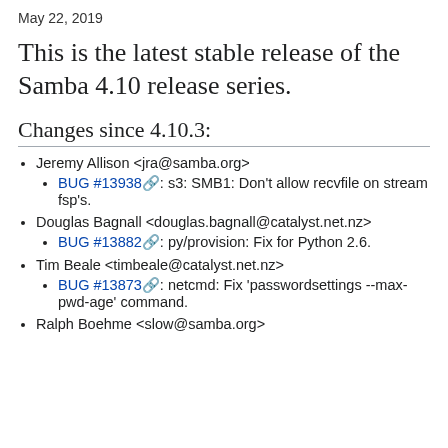May 22, 2019
This is the latest stable release of the Samba 4.10 release series.
Changes since 4.10.3:
Jeremy Allison <jra@samba.org>
BUG #13938: s3: SMB1: Don't allow recvfile on stream fsp's.
Douglas Bagnall <douglas.bagnall@catalyst.net.nz>
BUG #13882: py/provision: Fix for Python 2.6.
Tim Beale <timbeale@catalyst.net.nz>
BUG #13873: netcmd: Fix 'passwordsettings --max-pwd-age' command.
Ralph Boehme <slow@samba.org>